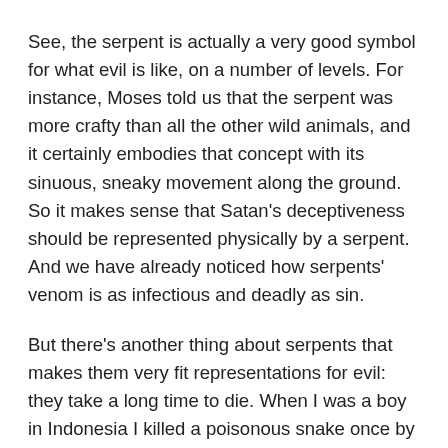See, the serpent is actually a very good symbol for what evil is like, on a number of levels. For instance, Moses told us that the serpent was more crafty than all the other wild animals, and it certainly embodies that concept with its sinuous, sneaky movement along the ground. So it makes sense that Satan's deceptiveness should be represented physically by a serpent. And we have already noticed how serpents' venom is as infectious and deadly as sin.
But there's another thing about serpents that makes them very fit representations for evil: they take a long time to die. When I was a boy in Indonesia I killed a poisonous snake once by crushing its head with a rock — and the body kept moving for about an hour afterwards. Another time one of my friends chopped a viper's head off with a